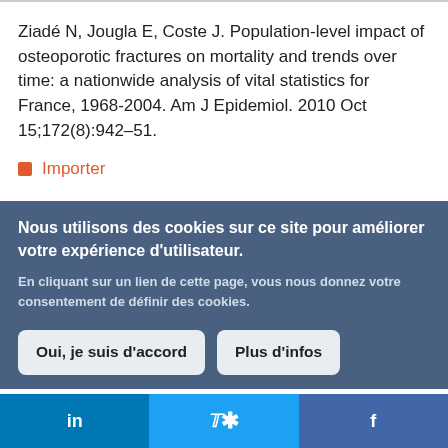Ziadé N, Jougla E, Coste J. Population-level impact of osteoporotic fractures on mortality and trends over time: a nationwide analysis of vital statistics for France, 1968-2004. Am J Epidemiol. 2010 Oct 15;172(8):942–51.
Importer
Nous utilisons des cookies sur ce site pour améliorer votre expérience d'utilisateur.
En cliquant sur un lien de cette page, vous nous donnez votre consentement de définir des cookies.
Oui, je suis d'accord
Plus d'infos